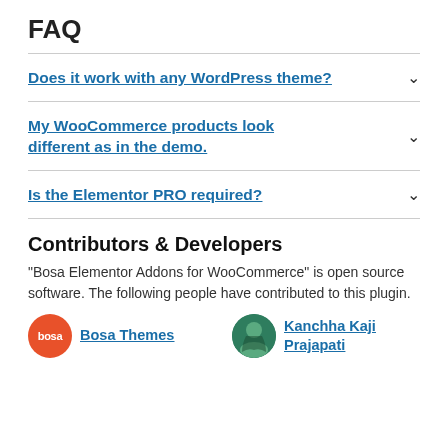FAQ
Does it work with any WordPress theme?
My WooCommerce products look different as in the demo.
Is the Elementor PRO required?
Contributors & Developers
“Bosa Elementor Addons for WooCommerce” is open source software. The following people have contributed to this plugin.
Bosa Themes | Kanchha Kaji Prajapati